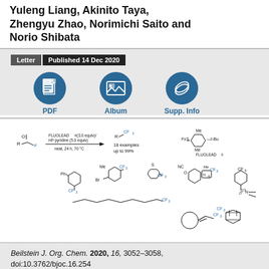Yuleng Liang, Akinito Taya, Zhengyu Zhao, Norimichi Saito and Norio Shibata
Letter  Published 14 Dec 2020
[Figure (infographic): Three teal circular icons for PDF, Album, and Supp. Info download options]
[Figure (engineering-diagram): Chemical reaction scheme showing FLUOLEAD (3.0 equiv)/HF-pyridine (5.0 equiv), neat, 24 h, 70 °C reaction with various substrates containing CF3 groups, 18 examples up to 99%. Also shows FLUOLEAD reagent structure with F3S group, Me groups, and t-Bu group. Multiple product structures shown below including Ph-substituted, Br/Me-substituted, thiophene-substituted, NC/O-containing heterocycle, adamantane, sulfonamide, and long alkyl chain CF3 products.]
Beilstein J. Org. Chem. 2020, 16, 3052–3058, doi:10.3762/bjoc.16.254